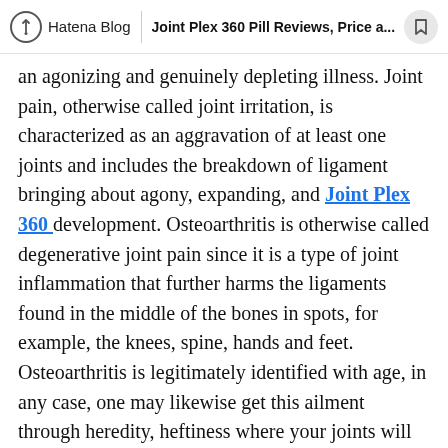Hatena Blog | Joint Plex 360 Pill Reviews, Price a...
an agonizing and genuinely depleting illness. Joint pain, otherwise called joint irritation, is characterized as an aggravation of at least one joints and includes the breakdown of ligament bringing about agony, expanding, and Joint Plex 360 development. Osteoarthritis is otherwise called degenerative joint pain since it is a type of joint inflammation that further harms the ligaments found in the middle of the bones in spots, for example, the knees, spine, hands and feet. Osteoarthritis is legitimately identified with age, in any case, one may likewise get this ailment through heredity, heftiness where your joints will be exhausted from extreme weight, other ailments, for example, diabetes, gout and hormonal